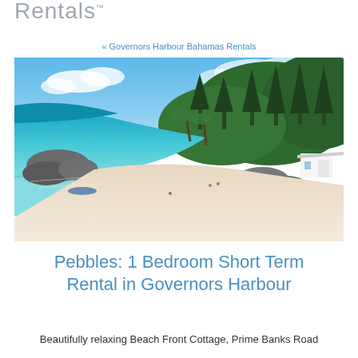Rentals.
« Governors Harbour Bahamas Rentals
[Figure (photo): Aerial view of a tropical beach with turquoise water, white sand, rocky outcroppings, palm trees, dense green forest, and a white cottage visible at the right edge.]
Pebbles: 1 Bedroom Short Term Rental in Governors Harbour
Beautifully relaxing Beach Front Cottage, Prime Banks Road